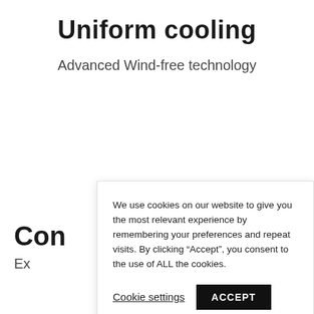Uniform cooling
Advanced Wind-free technology
Con
Ex
We use cookies on our website to give you the most relevant experience by remembering your preferences and repeat visits. By clicking “Accept”, you consent to the use of ALL the cookies.
Cookie settings
ACCEPT